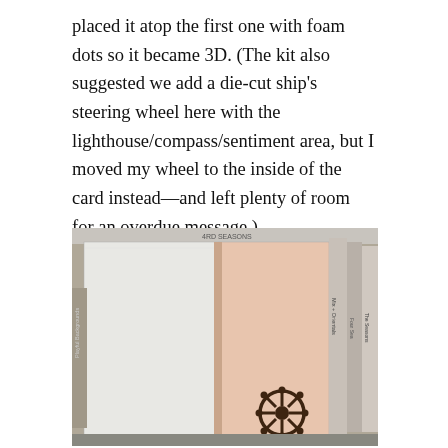placed it atop the first one with foam dots so it became 3D. (The kit also suggested we add a die-cut ship's steering wheel here with the lighthouse/compass/sentiment area, but I moved my wheel to the inside of the card instead—and left plenty of room for an overdue message.)
[Figure (photo): Photo of the inside of an open card, showing a white left panel and a peach/salmon right panel with a dark brown die-cut ship's steering wheel in the lower right corner. Craft supplies and books visible in the background.]